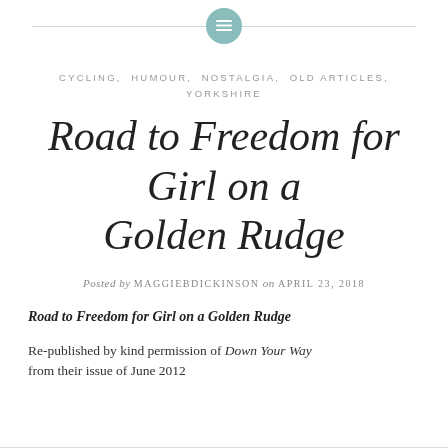CYCLING, HUMOUR, NOSTALGIA, OLD ARTICLES, YORKSHIRE
Road to Freedom for Girl on a Golden Rudge
Posted by MAGGIEBDICKINSON on APRIL 23, 2018
Road to Freedom for Girl on a Golden Rudge
Re-published by kind permission of Down Your Way from their issue of June 2012